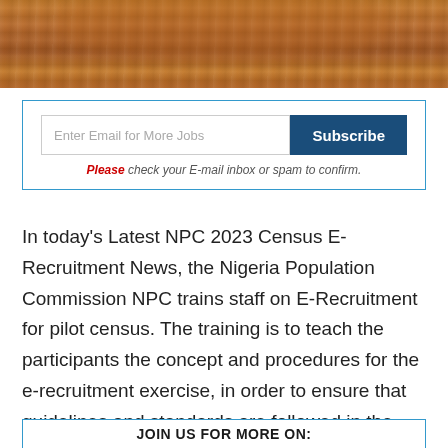[Figure (photo): Photo of a table covered with a brown/copper satin tablecloth, partially visible at top of page]
Enter Email for More Jobs
Subscribe
Please check your E-mail inbox or spam to confirm.
In today's Latest NPC 2023 Census E-Recruitment News, the Nigeria Population Commission NPC trains staff on E-Recruitment for pilot census. The training is to teach the participants the concept and procedures for the e-recruitment exercise, in order to ensure that guidelines and standards are followed in the recruitment of the functionaries for the pilot census.
JOIN US FOR MORE ON: